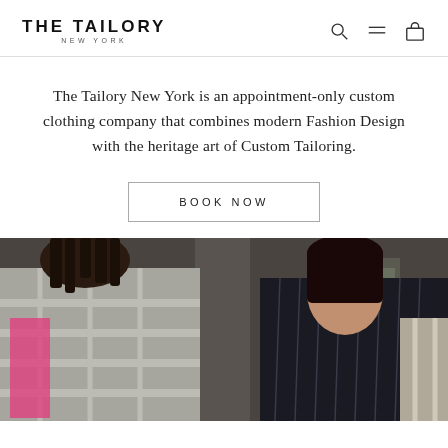THE TAILORY NEW YORK
The Tailory New York is an appointment-only custom clothing company that combines modern Fashion Design with the heritage art of Custom Tailoring.
BOOK NOW
[Figure (photo): Fashion photo of two models wearing custom tailored clothing — left model in a grey plaid blazer, right model in a dark pinstriped blazer, photographed outdoors against a concrete architectural background.]